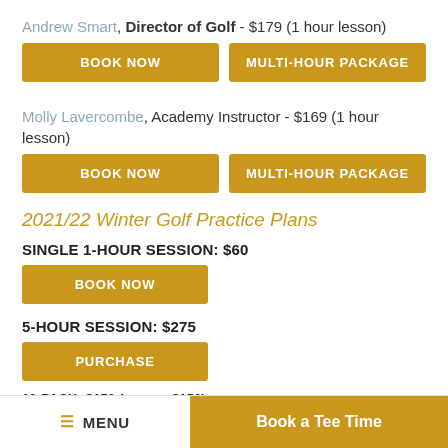Andrew Smart, Director of Golf - $179 (1 hour lesson)
BOOK NOW | MULTI-HOUR PACKAGE
Molly Lavercombe, Academy Instructor - $169 (1 hour lesson)
BOOK NOW | MULTI-HOUR PACKAGE
2021/22 Winter Golf Practice Plans
SINGLE 1-HOUR SESSION: $60
BOOK NOW
5-HOUR SESSION: $275
PURCHASE
10-PACK: $150 (a $150)
≡ MENU   Book a Tee Time